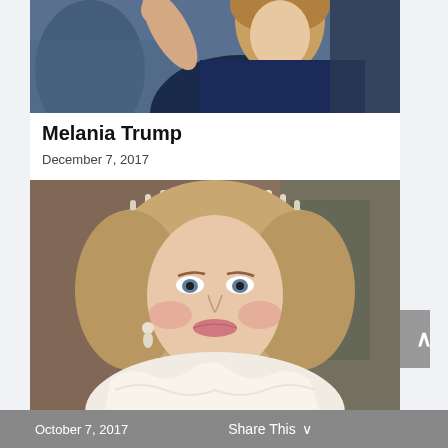[Figure (photo): Photo of Melania Trump in navy blue dress, waving, partially cropped at top]
Melania Trump
December 7, 2017
[Figure (photo): Photo of Princess Diana wearing a diamond tiara and white dress, portrait style]
Princess Diana
October 7, 2017   Share This